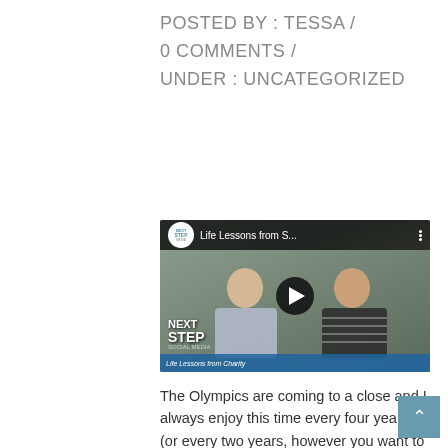POSTED BY : TESSA /
0 COMMENTS  /
UNDER : UNCATEGORIZED
[Figure (screenshot): Embedded YouTube-style video thumbnail showing two people seated at a table with a 'Next Step' logo, title reads 'Life Lessons from S...' with a play button overlay]
The Olympics are coming to a close and I always enjoy this time every four years (or every two years, however you want to look at it) because you get to watch these athletes do amazing things! Whether it's breaking